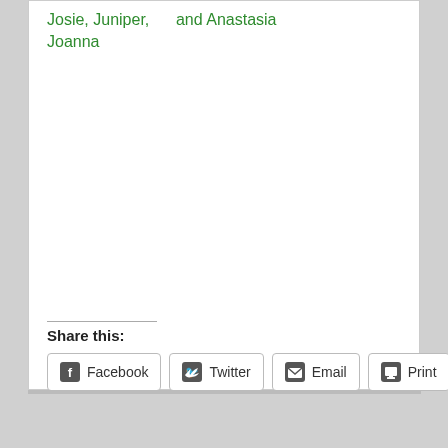Josie, Juniper,      and Anastasia Joanna
Share this:
Facebook  Twitter  Email  Print